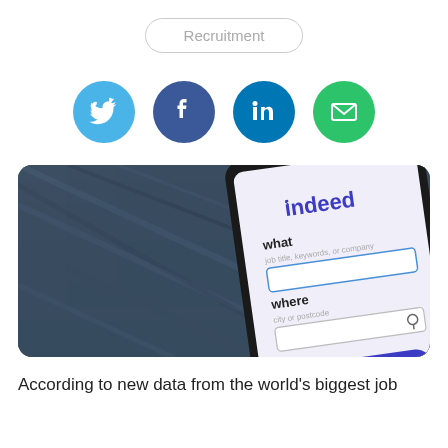Recruitment
[Figure (illustration): Four social media sharing icons in circles: Twitter (light blue), Facebook (dark blue), LinkedIn (teal blue), Email (green)]
[Figure (photo): A smartphone showing the Indeed job search app interface with 'what' and 'where' input fields and a 'Find Jobs' button, placed in a denim jeans pocket]
According to new data from the world's biggest job